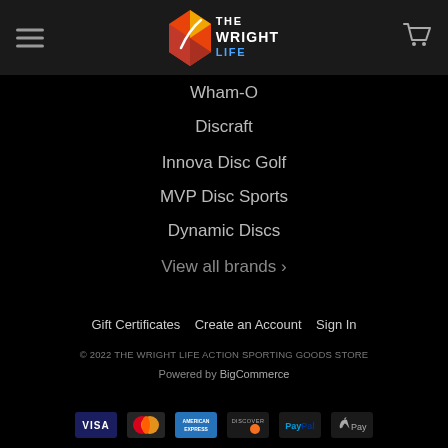The Wright Life — navigation header with hamburger menu and cart icon
Wham-O
Discraft
Innova Disc Golf
MVP Disc Sports
Dynamic Discs
View all brands ›
Gift Certificates   Create an Account   Sign In
© 2022 THE WRIGHT LIFE ACTION SPORTING GOODS STORE
Powered by BigCommerce
[Figure (other): Payment method icons: Visa, MasterCard, American Express, Discover, PayPal, Apple Pay]